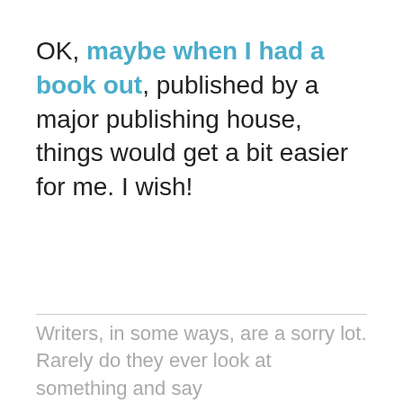OK, maybe when I had a book out, published by a major publishing house, things would get a bit easier for me. I wish!
Writers, in some ways, are a sorry lot. Rarely do they ever look at something and say